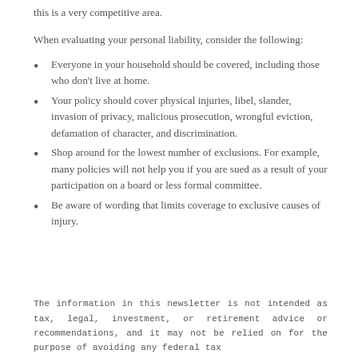this is a very competitive area.
When evaluating your personal liability, consider the following:
Everyone in your household should be covered, including those who don't live at home.
Your policy should cover physical injuries, libel, slander, invasion of privacy, malicious prosecution, wrongful eviction, defamation of character, and discrimination.
Shop around for the lowest number of exclusions. For example, many policies will not help you if you are sued as a result of your participation on a board or less formal committee.
Be aware of wording that limits coverage to exclusive causes of injury.
The information in this newsletter is not intended as tax, legal, investment, or retirement advice or recommendations, and it may not be relied on for the purpose of avoiding any federal tax